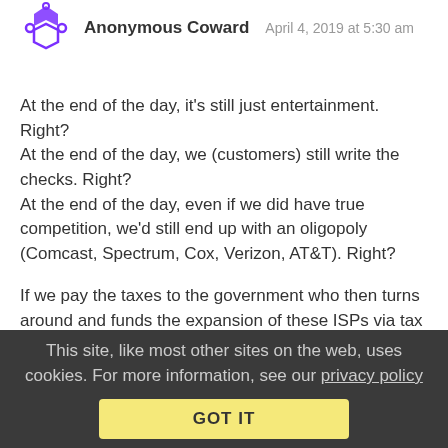Anonymous Coward  April 4, 2019 at 5:30 am
At the end of the day, it's still just entertainment. Right?
At the end of the day, we (customers) still write the checks. Right?
At the end of the day, even if we did have true competition, we'd still end up with an oligopoly (Comcast, Spectrum, Cox, Verizon, AT&T). Right?

If we pay the taxes to the government who then turns around and funds the expansion of these ISPs via tax breaks, and we Pay for the products and services that are advertised (commercials) on the shows that these ISPs carry, and we PAY for the subscriptions to these ISPs, haven't we pAiD enough?
Reply | View in chronology
This site, like most other sites on the web, uses cookies. For more information, see our privacy policy
GOT IT